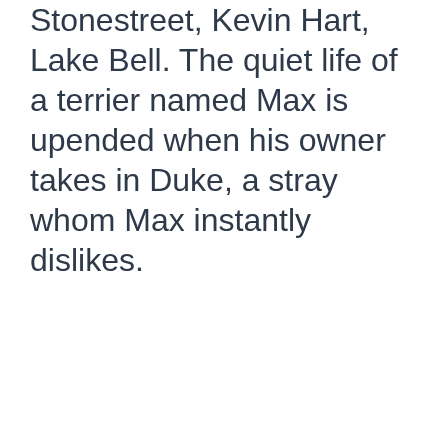Stonestreet, Kevin Hart, Lake Bell. The quiet life of a terrier named Max is upended when his owner takes in Duke, a stray whom Max instantly dislikes.